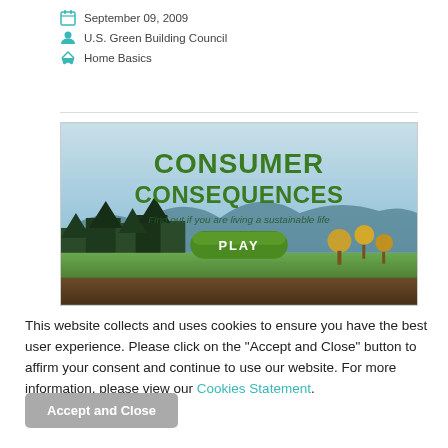September 09, 2009
U.S. Green Building Council
Home Basics
[Figure (screenshot): Screenshot of the Consumer Consequences game website showing large green bold text 'CONSUMER CONSEQUENCES' with subtitle 'Find out if you are living a sustainable life' and a green PLAY button, set against an illustrated landscape with mountains, trees, and grasslands.]
This website collects and uses cookies to ensure you have the best user experience. Please click on the "Accept and Close" button to affirm your consent and continue to use our website. For more information, please view our Cookies Statement.